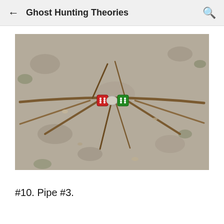Ghost Hunting Theories
[Figure (photo): Photograph of sticks arranged in a spider-like pattern on a concrete/sand surface, with red and green dice placed at the center junction of the sticks.]
#10. Pipe #3.